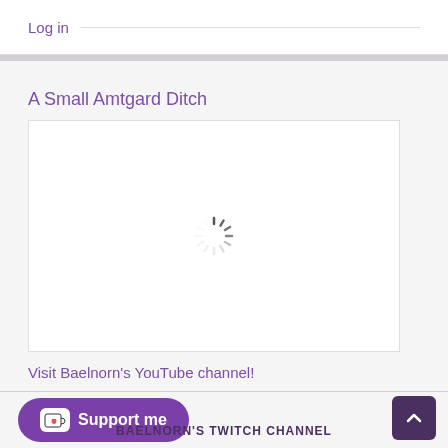Log in
A Small Amtgard Ditch
[Figure (other): Video player placeholder with spinning loading indicator on white background]
Visit Baelnorn's YouTube channel!
[Figure (other): Ko-fi Support me button (purple rounded rectangle with coffee cup icon)]
BAELNORN'S TWITCH CHANNEL